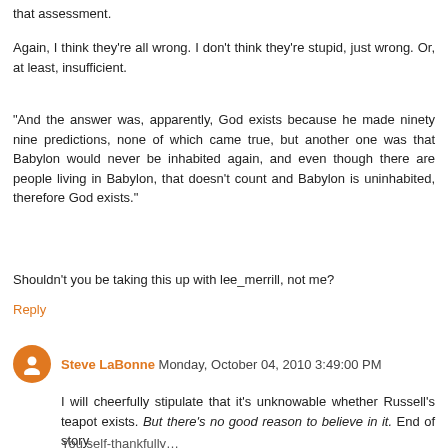that assessment.
Again, I think they're all wrong. I don't think they're stupid, just wrong. Or, at least, insufficient.
"And the answer was, apparently, God exists because he made ninety nine predictions, none of which came true, but another one was that Babylon would never be inhabited again, and even though there are people living in Babylon, that doesn't count and Babylon is uninhabited, therefore God exists."
Shouldn't you be taking this up with lee_merrill, not me?
Reply
Steve LaBonne Monday, October 04, 2010 3:49:00 PM
I will cheerfully stipulate that it's unknowable whether Russell's teapot exists. But there's no good reason to believe in it. End of story.
You self-thankfully...